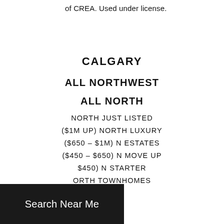of CREA. Used under license.
CALGARY
ALL NORTHWEST
ALL NORTH
NORTH JUST LISTED
($1M UP) NORTH LUXURY
($650 – $1M) N ESTATES
($450 – $650) N MOVE UP
($450) N STARTER
ORTH TOWNHOMES